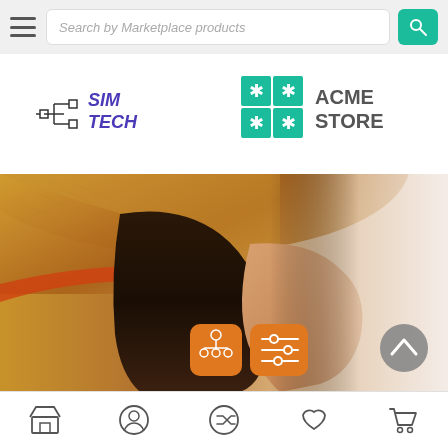[Figure (screenshot): Mobile app navigation bar with hamburger menu, search field placeholder 'Search by Marketplace products', and teal search button with magnifying glass icon]
[Figure (logo): SIM TECH logo with circuit board icon and purple stylized text]
[Figure (logo): ACME STORE logo with teal asterisk/snowflake icon and gray bold text]
[Figure (photo): Woman wearing a woven straw hat with orange band, viewed from the side, with blurred bright background. Two orange rounded square buttons with network/org-chart icon and sliders/filter icon overlaid on lower portion. Gray circle scroll-up arrow button on right.]
[Figure (screenshot): Bottom navigation bar with 5 icons: store/shop, user/profile, shuffle/compare, heart/favorites, shopping cart]